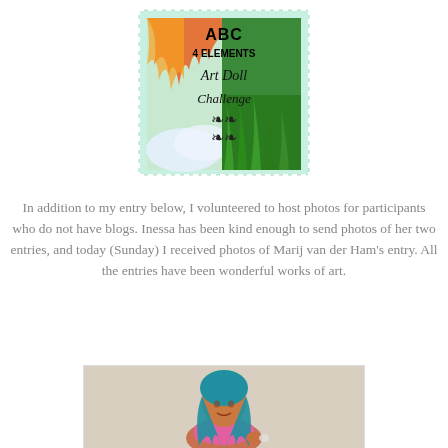[Figure (illustration): ABC 4 Elements Art Doll Challenge stamp/badge with decorative postage stamp design featuring fire, water, earth and air elements with text 'ABC 4 ELEMENTS Art Doll Challenge' and ornamental design]
In addition to my entry below, I volunteered to host photos for participants who do not have blogs. Inessa has been kind enough to send photos of her two entries, and today (Sunday) I received photos of Marij van der Ham's entry. All the entries have been wonderful works of art.
[Figure (photo): Photo of an art doll: a female figure with teal/blue hair, brown skin, wearing a pink top, holding something small, against a grey-beige background]